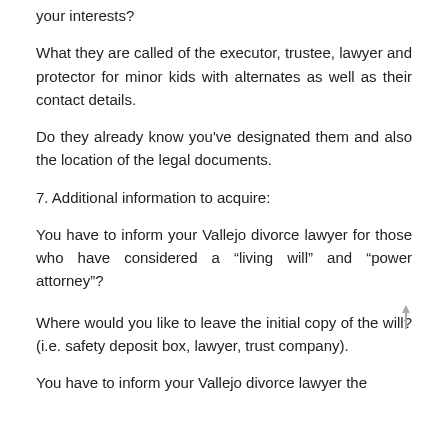your interests?
What they are called of the executor, trustee, lawyer and protector for minor kids with alternates as well as their contact details.
Do they already know you've designated them and also the location of the legal documents.
7. Additional information to acquire:
You have to inform your Vallejo divorce lawyer for those who have considered a “living will” and “power attorney”?
Where would you like to leave the initial copy of the will? (i.e. safety deposit box, lawyer, trust company).
You have to inform your Vallejo divorce lawyer the